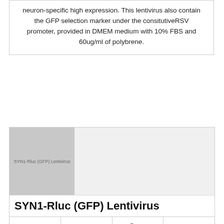neuron-specific high expression. This lentivirus also contain the GFP selection marker under the consitutiveRSV promoter, provided in DMEM medium with 10% FBS and 60ug/ml of polybrene.
[Figure (photo): Product image placeholder for SYN1-Rluc (GFP) Lentivirus with label text]
SYN1-Rluc (GFP) Lentivirus
| LVP1032-G | GenTarget | 1x107 IFU/ml x 200ul | EUR 552 |
| --- | --- | --- | --- |
Description: Pre-made lentivirus express Renilla luciferase reporter under human Synapsin 's promoter which used for neuron-specific high expression. This lentivirus also contain the GFP selection marker under the consitutive RSV promoter, provided in DMEM medium with 10% FBS and 60ug/ml of